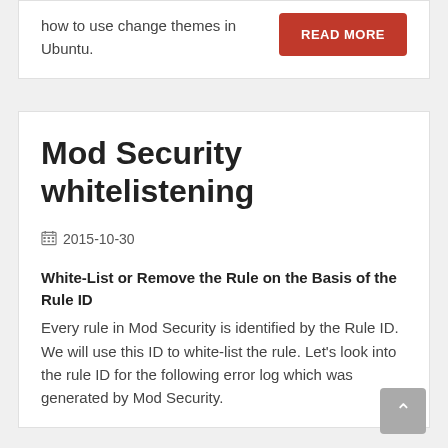how to use change themes in Ubuntu.
READ MORE
Mod Security whitelistening
2015-10-30
White-List or Remove the Rule on the Basis of the Rule ID
Every rule in Mod Security is identified by the Rule ID. We will use this ID to white-list the rule. Let's look into the rule ID for the following error log which was generated by Mod Security.